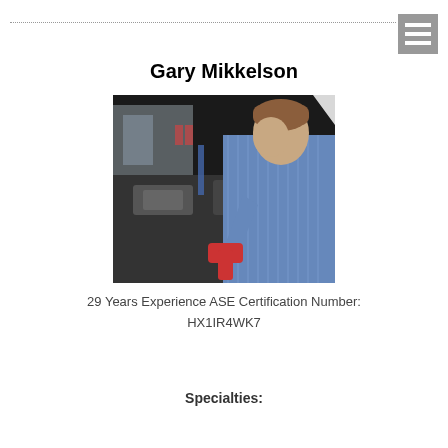Gary Mikkelson
[Figure (photo): A man in a blue striped shirt leaning over a car engine bay, working with a handheld diagnostic tool. The car hood is open and a garage/shop environment is visible in the background.]
29 Years Experience ASE Certification Number: HX1IR4WK7
Specialties: